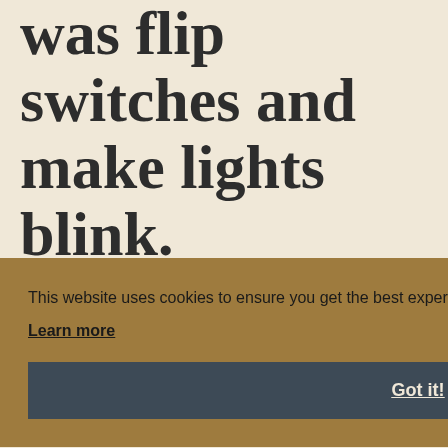was flip switches and make lights blink.
This website uses cookies to ensure you get the best experience on our website.
Learn more
Got it!